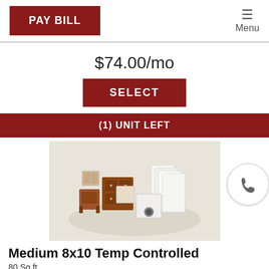PAY BILL | Menu
$74.00/mo
SELECT
(1) UNIT LEFT
[Figure (photo): 3D illustration of furniture items including chairs, mattresses, and boxes representing items that fit in a storage unit]
Medium 8x10 Temp Controlled
80 Sq ft